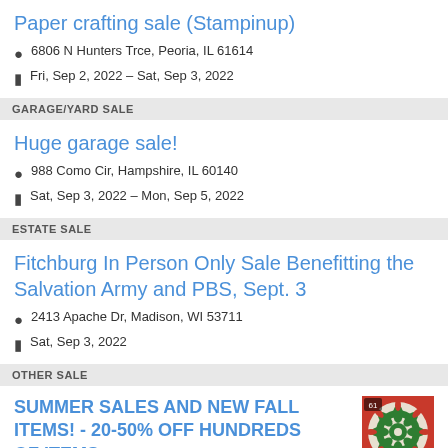Paper crafting sale (Stampinup)
📍 6806 N Hunters Trce, Peoria, IL 61614
🗓 Fri, Sep 2, 2022 – Sat, Sep 3, 2022
GARAGE/YARD SALE
Huge garage sale!
📍 988 Como Cir, Hampshire, IL 60140
🗓 Sat, Sep 3, 2022 – Mon, Sep 5, 2022
ESTATE SALE
Fitchburg In Person Only Sale Benefitting the Salvation Army and PBS, Sept. 3
📍 2413 Apache Dr, Madison, WI 53711
🗓 Sat, Sep 3, 2022
OTHER SALE
SUMMER SALES AND NEW FALL ITEMS! - 20-50% OFF HUNDREDS OF ITEMS
[Figure (photo): Thumbnail photo of a decorative quilted item with floral/mandala pattern in red and green, with a price tag badge showing 61]